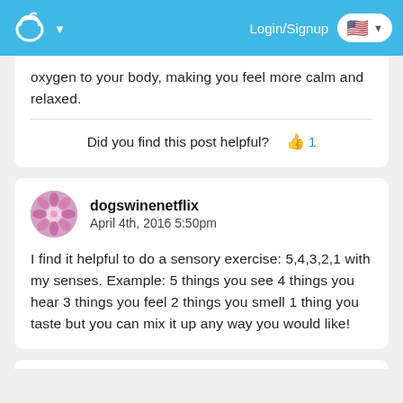[Figure (screenshot): Website navigation bar with logo (cup icon), Login/Signup text, and US flag dropdown button on blue background]
oxygen to your body, making you feel more calm and relaxed.
Did you find this post helpful? 👍 1
dogswinenetflix
April 4th, 2016 5:50pm
I find it helpful to do a sensory exercise: 5,4,3,2,1 with my senses. Example: 5 things you see 4 things you hear 3 things you feel 2 things you smell 1 thing you taste but you can mix it up any way you would like!